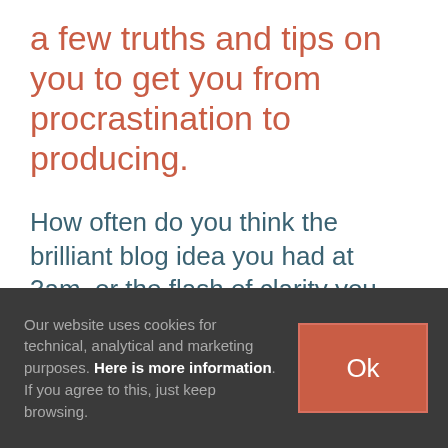a few truths and tips on you to get you from procrastination to producing.
How often do you think the brilliant blog idea you had at 3am, or the flash of clarity you had after listening to that podcast are now, well, a bit lame.
Our website uses cookies for technical, analytical and marketing purposes. Here is more information. If you agree to this, just keep browsing.